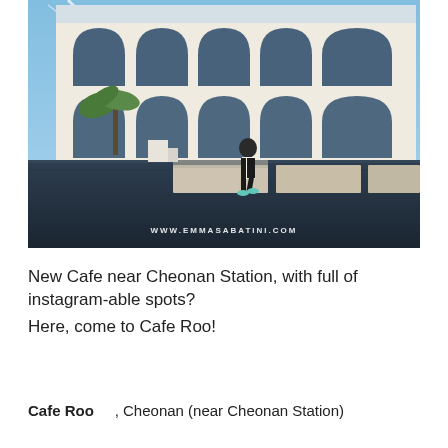[Figure (photo): Exterior photo of Cafe Roo, a modern white building with Gothic-style pointed arch windows arranged in a grid (2 rows, 5 columns visible). A person in black pants and teal shoes walks across large stone stepping platforms over a dark reflective water pool in the foreground. Palm trees visible on the left. Sunlight flare in upper left corner. Watermark reads WWW.EMMASABATINI.COM at the bottom center of the image.]
New Cafe near Cheonan Station, with full of instagram-able spots?
Here, come to Cafe Roo!
Cafe Roo , Cheonan (near Cheonan Station)